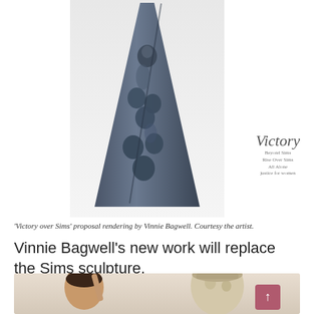[Figure (photo): Dark blue-grey obelisk-shaped sculpture with carved relief figures of multiple faces and bodies, titled 'Victory over Sims' by Vinnie Bagwell. A cursive 'Victory' watermark with subtitle text appears to the right.]
'Victory over Sims' proposal rendering by Vinnie Bagwell. Courtesy the artist.
Vinnie Bagwell's new work will replace the Sims sculpture.
[Figure (photo): Photo of a person (likely Vinnie Bagwell) standing next to a clay or plaster sculpture model of a woman's head and upper torso. A pink/mauve scroll-to-top button is visible in the lower right corner.]